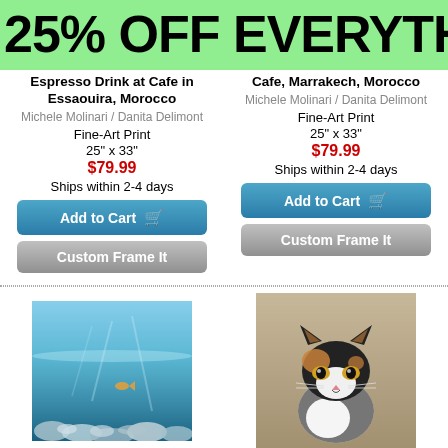25% OFF EVERYTH
Espresso Drink at Cafe in Essaouira, Morocco
Michele Molinari / Danita Delimont
Fine-Art Print
25" x 33"
$79.99
Ships within 2-4 days
Cafe, Marrakech, Morocco
Michele Molinari / Danita Delimont
Fine-Art Print
25" x 33"
$79.99
Ships within 2-4 days
[Figure (photo): Underwater photo showing crystal clear waters with sea life and coral reef, Red Sea, Egypt]
Crystal Clear Waters and Sea Life of the Red Sea, Egypt
[Figure (photo): Photo of a local cat in Morocco, black and white cat looking at camera]
Local Cat, Morocco
Michele Molinari / Danita